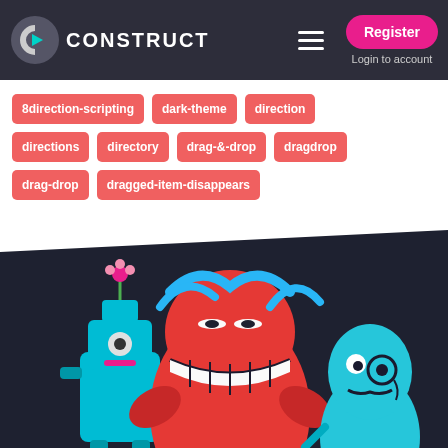Construct — Register / Login to account
8direction-scripting
dark-theme
direction
directions
directory
drag-&-drop
dragdrop
drag-drop
dragged-item-disappears
[Figure (illustration): Animated cartoon mascot characters: a cyan robot with a flower on top, a large red blob character with a wide smile, and a teal teardrop-shaped character with a monocle and moustache, set against a dark navy background.]